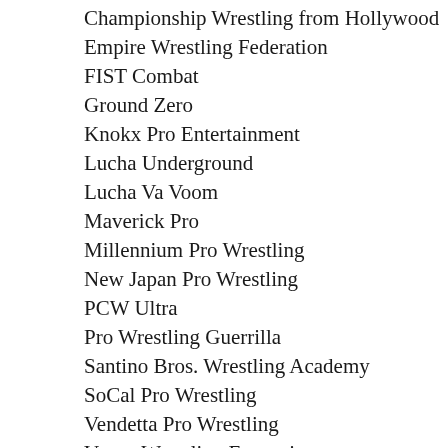Championship Wrestling from Hollywood
Empire Wrestling Federation
FIST Combat
Ground Zero
Knokx Pro Entertainment
Lucha Underground
Lucha Va Voom
Maverick Pro
Millennium Pro Wrestling
New Japan Pro Wrestling
PCW Ultra
Pro Wrestling Guerrilla
Santino Bros. Wrestling Academy
SoCal Pro Wrestling
Vendetta Pro Wrestling
Venue Wrestling Entertainment